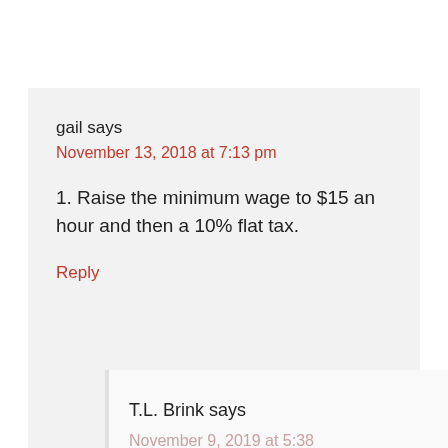gail says
November 13, 2018 at 7:13 pm
1. Raise the minimum wage to $15 an hour and then a 10% flat tax.
Reply
T.L. Brink says
November 9, 2019 at 5:38 am